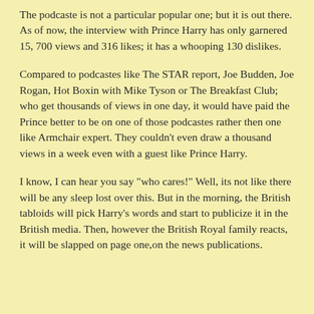The podcaste is not a particular popular one; but it is out there. As of now, the interview with Prince Harry has only garnered 15, 700 views and 316 likes; it has a whooping 130 dislikes.
Compared to podcastes like The STAR report, Joe Budden, Joe Rogan, Hot Boxin with Mike Tyson or The Breakfast Club; who get thousands of views in one day, it would have paid the Prince better to be on one of those podcastes rather then one like Armchair expert. They couldn't even draw a thousand views in a week even with a guest like Prince Harry.
I know, I can hear you say "who cares!" Well, its not like there will be any sleep lost over this. But in the morning, the British tabloids will pick Harry's words and start to publicize it in the British media. Then, however the British Royal family reacts, it will be slapped on page one,on the news publications.